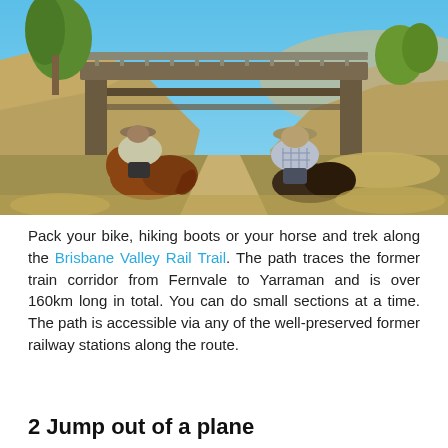[Figure (photo): Two riders on horseback approaching a bridge on a dirt trail, surrounded by dry grass and eucalyptus trees under a blue sky.]
Pack your bike, hiking boots or your horse and trek along the Brisbane Valley Rail Trail. The path traces the former train corridor from Fernvale to Yarraman and is over 160km long in total. You can do small sections at a time. The path is accessible via any of the well-preserved former railway stations along the route.
2  Jump out of a plane